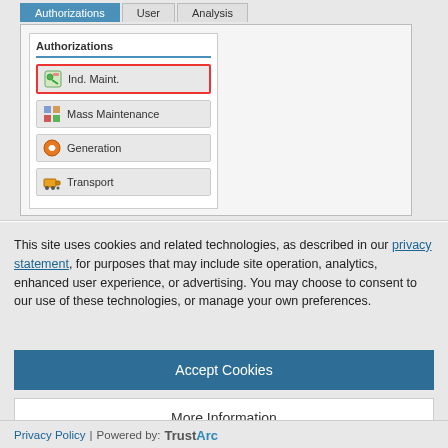[Figure (screenshot): SAP authorization management UI screenshot showing tabs: Authorizations (active/selected), User, Analysis. A sidebar panel shows menu items: Ind. Maint. (highlighted with red border), Mass Maintenance, Generation, Transport.]
This site uses cookies and related technologies, as described in our privacy statement, for purposes that may include site operation, analytics, enhanced user experience, or advertising. You may choose to consent to our use of these technologies, or manage your own preferences.
Accept Cookies
More Information
Privacy Policy | Powered by: TrustArc